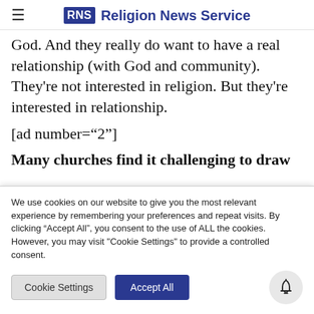RNS Religion News Service
God. And they really do want to have a real relationship (with God and community). They're not interested in religion. But they're interested in relationship.
[ad number="2"]
Many churches find it challenging to draw
We use cookies on our website to give you the most relevant experience by remembering your preferences and repeat visits. By clicking "Accept All", you consent to the use of ALL the cookies. However, you may visit "Cookie Settings" to provide a controlled consent.